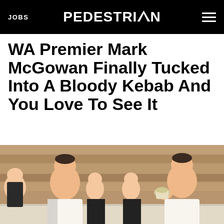JOBS | PEDESTRIAN | [menu]
WA Premier Mark McGowan Finally Tucked Into A Bloody Kebab And You Love To See It
[Figure (photo): Two side-by-side photos of WA Premier Mark McGowan at a kebab shop. Left photo: McGowan standing and looking at camera with a woman smiling to his left, wood panelled wall behind them. Right photo: McGowan eating a kebab/wrap with the same woman visible in the background.]